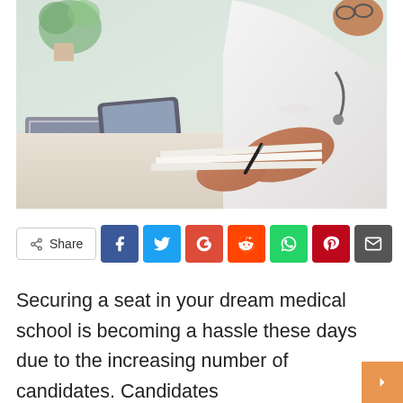[Figure (photo): A person in a white doctor's coat writing on papers at a desk, with a laptop, tablet, plant, and coffee cup visible in the background.]
[Figure (infographic): Social share bar with Share button and icons for Facebook, Twitter, Google+, Reddit, WhatsApp, Pinterest, and Email.]
Securing a seat in your dream medical school is becoming a hassle these days due to the increasing number of candidates. Candidates